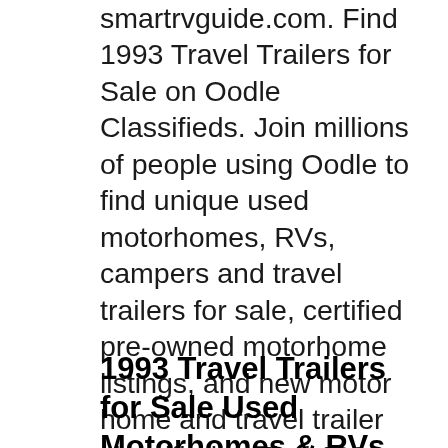smartrvguide.com. Find 1993 Travel Trailers for Sale on Oodle Classifieds. Join millions of people using Oodle to find unique used motorhomes, RVs, campers and travel trailers for sale, certified pre-owned motorhome listings, and new motor home and travel trailer classifieds., Find 1993 Travel Trailers for Sale on Oodle Classifieds. Join millions of people using Oodle to find unique used motorhomes, RVs, campers and travel trailers for sale, certified pre-owned motorhome listings, and new motor home and travel trailer classifieds..
1993 Travel Trailers for Sale Used Motorhomes & RVs on